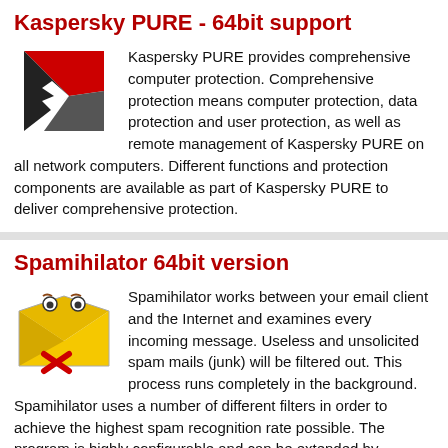Kaspersky PURE - 64bit support
[Figure (logo): Kaspersky red and black K logo]
Kaspersky PURE provides comprehensive computer protection. Comprehensive protection means computer protection, data protection and user protection, as well as remote management of Kaspersky PURE on all network computers. Different functions and protection components are available as part of Kaspersky PURE to deliver comprehensive protection.
Spamihilator 64bit version
[Figure (logo): Spamihilator cartoon envelope character with X]
Spamihilator works between your email client and the Internet and examines every incoming message. Useless and unsolicited spam mails (junk) will be filtered out. This process runs completely in the background. Spamihilator uses a number of different filters in order to achieve the highest spam recognition rate possible. The program is highly configurable and can be extended by plugins.